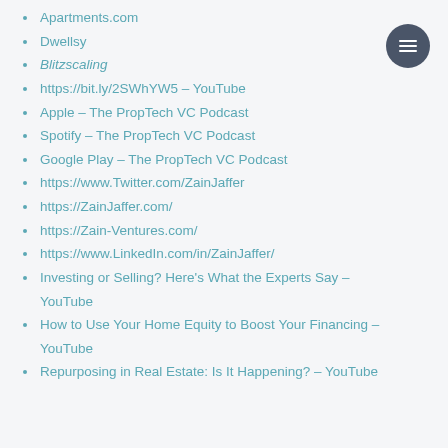Apartments.com
Dwellsy
Blitzscaling
https://bit.ly/2SWhYW5 – YouTube
Apple – The PropTech VC Podcast
Spotify – The PropTech VC Podcast
Google Play – The PropTech VC Podcast
https://www.Twitter.com/ZainJaffer
https://ZainJaffer.com/
https://Zain-Ventures.com/
https://www.LinkedIn.com/in/ZainJaffer/
Investing or Selling? Here's What the Experts Say – YouTube
How to Use Your Home Equity to Boost Your Financing – YouTube
Repurposing in Real Estate: Is It Happening? – YouTube